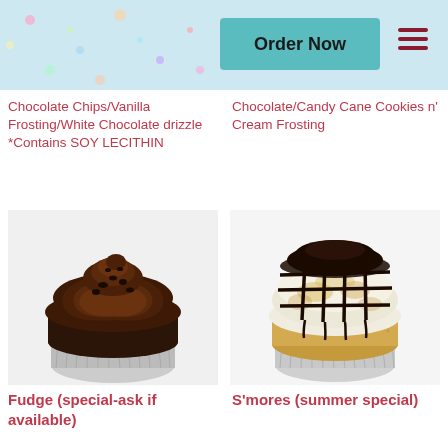Order Now
Chocolate Chips/Vanilla Frosting/White Chocolate drizzle
*Contains SOY LECITHIN
Chocolate/Candy Cane Cookies n' Cream Frosting
[Figure (photo): Chocolate fudge cupcake with swirled dark chocolate frosting and chocolate chip toppings in a silver foil wrapper]
[Figure (photo): S'mores cupcake with toasted marshmallow frosting, graham cracker crumbs, and dark chocolate drizzle in a foil wrapper]
Fudge (special-ask if available)
S'mores (summer special)